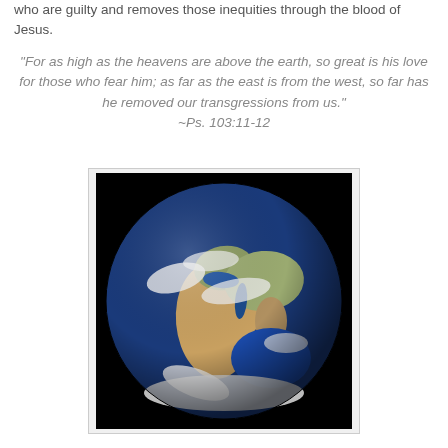who are guilty and removes those inequities through the blood of Jesus.
"For as high as the heavens are above the earth, so great is his love for those who fear him; as far as the east is from the west, so far has he removed our transgressions from us." ~Ps. 103:11-12
[Figure (photo): Satellite photograph of Earth from space showing Africa, Europe, and Asia, with black space background, white clouds and blue oceans visible.]